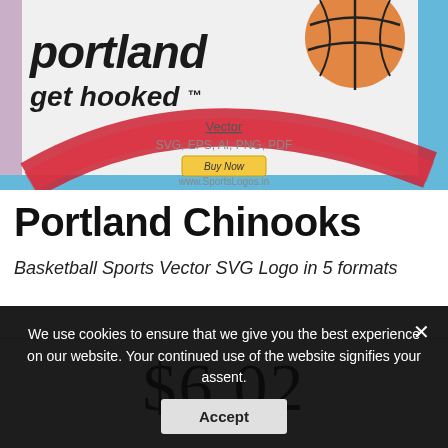[Figure (screenshot): Portland Chinooks basketball sports logo product page image showing italicized 'portland get hooked TM' text with a basketball and red swoosh graphic, with vector format details and Buy Now button, watermarked www.SportsLogos.in]
Portland Chinooks
Basketball Sports Vector SVG Logo in 5 formats
$6.02
We use cookies to ensure that we give you the best experience on our website. Your continued use of the website signifies your assent.
Accept